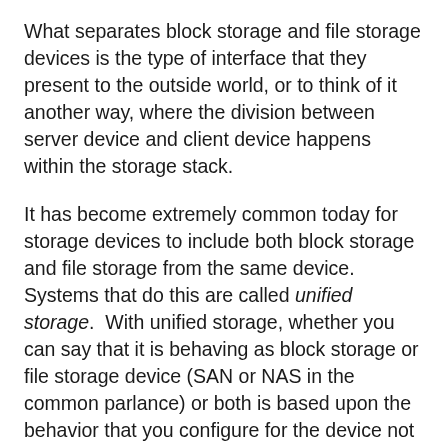What separates block storage and file storage devices is the type of interface that they present to the outside world, or to think of it another way, where the division between server device and client device happens within the storage stack.
It has become extremely common today for storage devices to include both block storage and file storage from the same device. Systems that do this are called unified storage. With unified storage, whether you can say that it is behaving as block storage or file storage device (SAN or NAS in the common parlance) or both is based upon the behavior that you configure for the device not based on what you purchase. This is important as it drives home the point that this is purely a protocol or interface distinction, not one of size, capability, reliability, performance, features, etc.
Both types of devices have the option, but not the requirement, of providing extended features beneath the